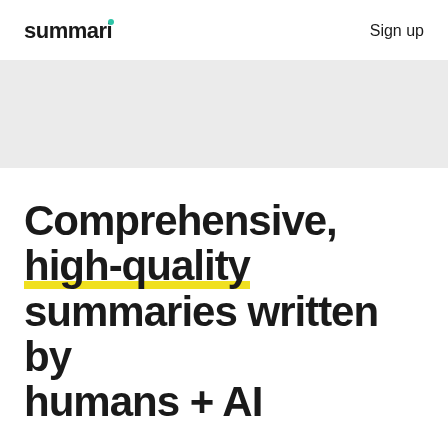summari   Sign up
[Figure (other): Light gray rectangular banner/hero image placeholder area]
Comprehensive, high-quality summaries written by humans + AI